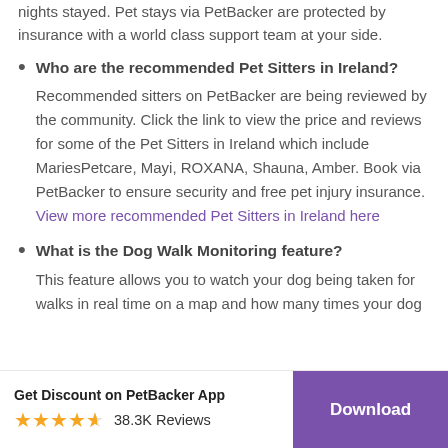nights stayed. Pet stays via PetBacker are protected by insurance with a world class support team at your side.
Who are the recommended Pet Sitters in Ireland? Recommended sitters on PetBacker are being reviewed by the community. Click the link to view the price and reviews for some of the Pet Sitters in Ireland which include MariesPetcare, Mayi, ROXANA, Shauna, Amber. Book via PetBacker to ensure security and free pet injury insurance. View more recommended Pet Sitters in Ireland here
What is the Dog Walk Monitoring feature? This feature allows you to watch your dog being taken for walks in real time on a map and how many times your dog
Get Discount on PetBacker App  38.3K Reviews  Download